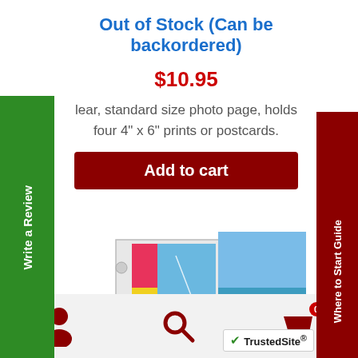Out of Stock (Can be backordered)
$10.95
lear, standard size photo page, holds four 4" x 6" prints or postcards.
Add to cart
[Figure (photo): Product photo of a clear plastic photo page sleeve holding 4x6 prints showing beach scenes]
[Figure (logo): TrustedSite certification badge]